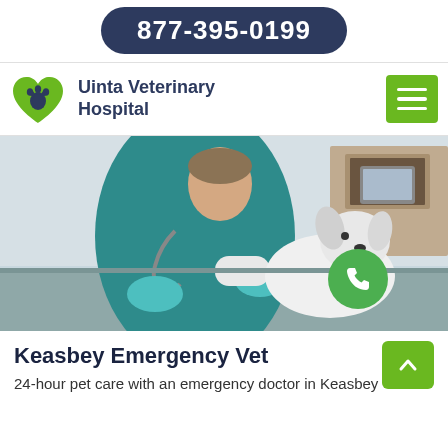877-395-0199
[Figure (logo): Uinta Veterinary Hospital logo — green heart with paw print icon, dark blue text]
Uinta Veterinary Hospital
[Figure (photo): Veterinarian in blue scrubs and gloves treating a white fluffy dog (bandaging paw) on an examination table, stethoscope around neck, clinical room background. Green phone FAB button overlaid on lower right of image.]
Keasbey Emergency Vet
24-hour pet care with an emergency doctor in Keasbey